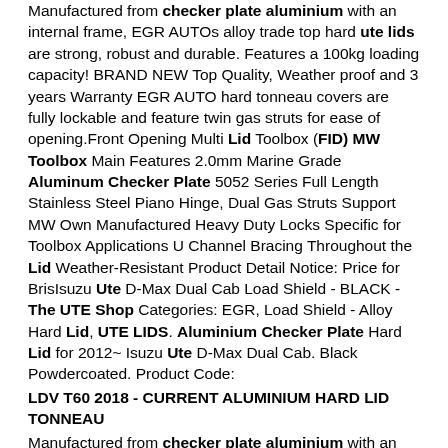Manufactured from checker plate aluminium with an internal frame, EGR AUTOs alloy trade top hard ute lids are strong, robust and durable. Features a 100kg loading capacity! BRAND NEW Top Quality, Weather proof and 3 years Warranty EGR AUTO hard tonneau covers are fully lockable and feature twin gas struts for ease of opening.Front Opening Multi Lid Toolbox (FID) MW Toolbox Main Features 2.0mm Marine Grade Aluminum Checker Plate 5052 Series Full Length Stainless Steel Piano Hinge, Dual Gas Struts Support MW Own Manufactured Heavy Duty Locks Specific for Toolbox Applications U Channel Bracing Throughout the Lid Weather-Resistant Product Detail Notice: Price for BrisIsuzu Ute D-Max Dual Cab Load Shield - BLACK - The UTE Shop Categories: EGR, Load Shield - Alloy Hard Lid, UTE LIDS. Aluminium Checker Plate Hard Lid for 2012~ Isuzu Ute D-Max Dual Cab. Black Powdercoated. Product Code:
LDV T60 2018 - CURRENT ALUMINIUM HARD LID TONNEAU
Manufactured from checker plate aluminium with an internal frame, EGR AUTOs alloy trade top hard ute lids are strong, robust and durable. Features a 100kg loading capacity! BRAND NEW Top Quality, Weather proof and 3 years Warranty EGR AUTO hard tonneau covers are fully lockable and feature twin gas struts for ease of opening.Low-Priced and Corrosion-Resistant aluminum checker plate Aluminum Checker Plate Aluminum Hot-sale